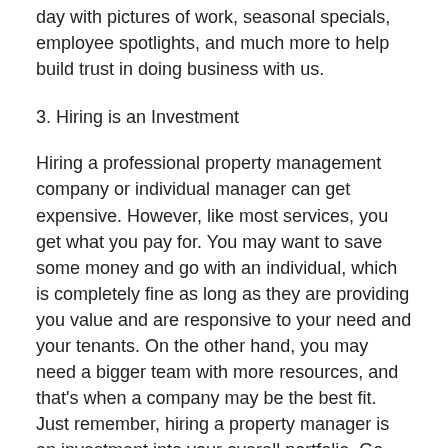day with pictures of work, seasonal specials, employee spotlights, and much more to help build trust in doing business with us.
3. Hiring is an Investment
Hiring a professional property management company or individual manager can get expensive. However, like most services, you get what you pay for. You may want to save some money and go with an individual, which is completely fine as long as they are providing you value and are responsive to your need and your tenants. On the other hand, you may need a bigger team with more resources, and that's when a company may be the best fit. Just remember, hiring a property manager is an investment into your overall portfolio. Go with experience. Go with responsiveness and reliability. But, always know they should have your best interests in mind at all times to benefit you and your properties in the long